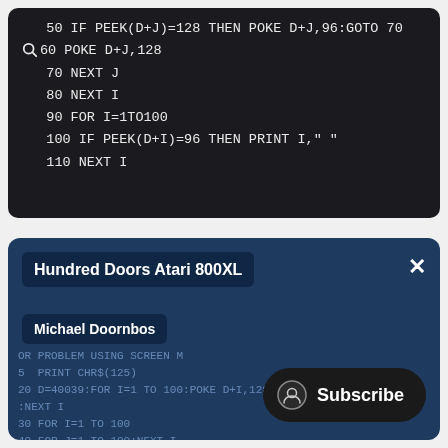[Figure (screenshot): Dark terminal/code editor showing BASIC program lines: 50 IF PEEK(D+J)=128 THEN POKE D+J,96:GOTO 70 / 60 POKE D+J,128 / 70 NEXT J / 80 NEXT I / 90 FOR I=1TO100 / 100 IF PEEK(D+I)=96 THEN PRINT I," " / 110 NEXT I]
[Figure (screenshot): YouTube-style video player overlay card with title 'Hundred Doors Atari 800XL', channel 'Michael Doornbos', background showing the same BASIC code faintly, a 'player is having trouble' message, and a Subscribe button in bottom right. Close X button top right.]